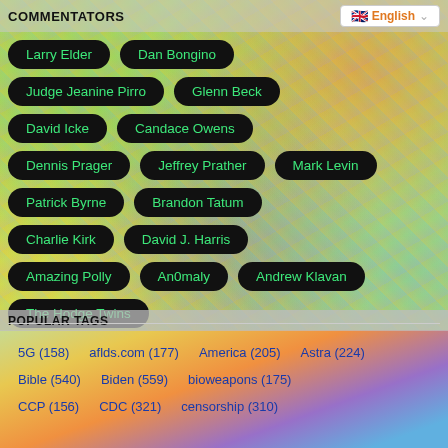COMMENTATORS
Larry Elder
Dan Bongino
Judge Jeanine Pirro
Glenn Beck
David Icke
Candace Owens
Dennis Prager
Jeffrey Prather
Mark Levin
Patrick Byrne
Brandon Tatum
Charlie Kirk
David J. Harris
Amazing Polly
An0maly
Andrew Klavan
The Hodge Twins
POPULAR TAGS
5G (158)
aflds.com (177)
America (205)
Astra (224)
Bible (540)
Biden (559)
bioweapons (175)
CCP (156)
CDC (321)
censorship (310)